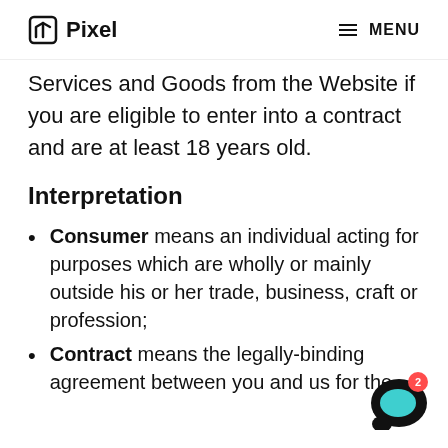Pixel  MENU
Services and Goods from the Website if you are eligible to enter into a contract and are at least 18 years old.
Interpretation
Consumer means an individual acting for purposes which are wholly or mainly outside his or her trade, business, craft or profession;
Contract means the legally-binding agreement between you and us for the